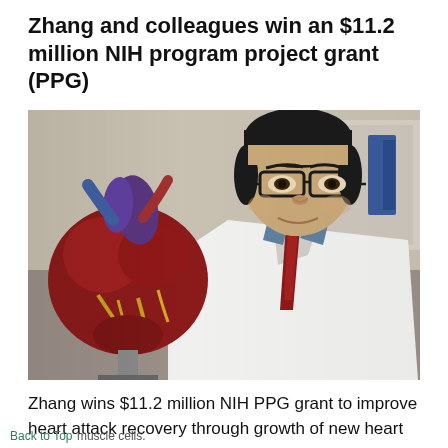Zhang and colleagues win an $11.2 million NIH program project grant (PPG)
[Figure (photo): A male researcher in a white lab coat and red tie holding an anatomical heart model, photographed in a laboratory setting.]
Zhang wins $11.2 million NIH PPG grant to improve heart attack recovery through growth of new heart muscle cells.
Back to Top